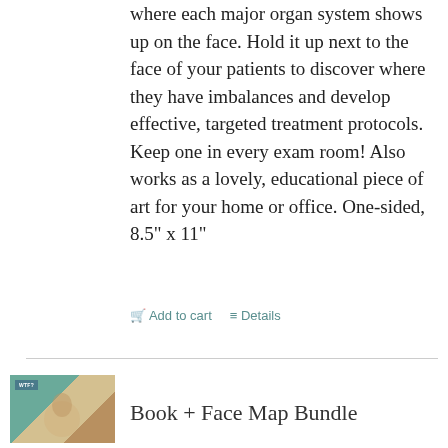where each major organ system shows up on the face. Hold it up next to the face of your patients to discover where they have imbalances and develop effective, targeted treatment protocols. Keep one in every exam room! Also works as a lovely, educational piece of art for your home or office. One-sided, 8.5" x 11"
🛒 Add to cart   ≡ Details
Book + Face Map Bundle